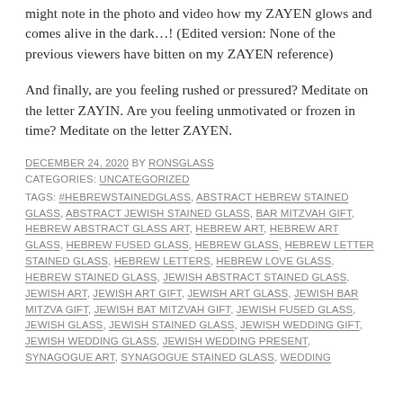might note in the photo and video how my ZAYEN glows and comes alive in the dark…! (Edited version: None of the previous viewers have bitten on my ZAYEN reference)
And finally, are you feeling rushed or pressured? Meditate on the letter ZAYIN. Are you feeling unmotivated or frozen in time? Meditate on the letter ZAYEN.
DECEMBER 24, 2020 BY RONSGLASS
CATEGORIES: UNCATEGORIZED
TAGS: #HEBREWSTAINEDGLASS, ABSTRACT HEBREW STAINED GLASS, ABSTRACT JEWISH STAINED GLASS, BAR MITZVAH GIFT, HEBREW ABSTRACT GLASS ART, HEBREW ART, HEBREW ART GLASS, HEBREW FUSED GLASS, HEBREW GLASS, HEBREW LETTER STAINED GLASS, HEBREW LETTERS, HEBREW LOVE GLASS, HEBREW STAINED GLASS, JEWISH ABSTRACT STAINED GLASS, JEWISH ART, JEWISH ART GIFT, JEWISH ART GLASS, JEWISH BAR MITZVA GIFT, JEWISH BAT MITZVAH GIFT, JEWISH FUSED GLASS, JEWISH GLASS, JEWISH STAINED GLASS, JEWISH WEDDING GIFT, JEWISH WEDDING GLASS, JEWISH WEDDING PRESENT, SYNAGOGUE ART, SYNAGOGUE STAINED GLASS, WEDDING